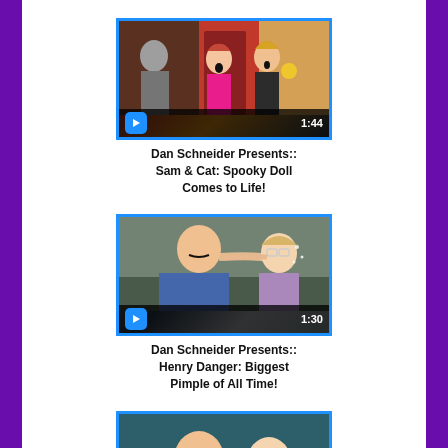[Figure (screenshot): Video thumbnail for Sam & Cat episode showing two surprised girls, with blue video camera icon and duration 1:44]
Dan Schneider Presents:: Sam & Cat: Spooky Doll Comes to Life!
[Figure (screenshot): Video thumbnail for Henry Danger episode showing a man having his cheek stretched by a girl, with blue video camera icon and duration 1:30]
Dan Schneider Presents:: Henry Danger: Biggest Pimple of All Time!
[Figure (screenshot): Partial video thumbnail visible at bottom of page]